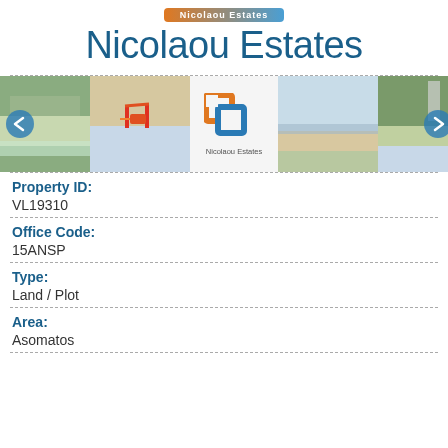Nicolaou Estates
Nicolaou Estates
[Figure (photo): Image carousel showing aerial view, playground on beach, Nicolaou Estates logo, coastal/beach aerial view, and a park/coastal aerial view with navigation arrows]
Property ID:
VL19310
Office Code:
15ANSP
Type:
Land / Plot
Area:
Asomatos